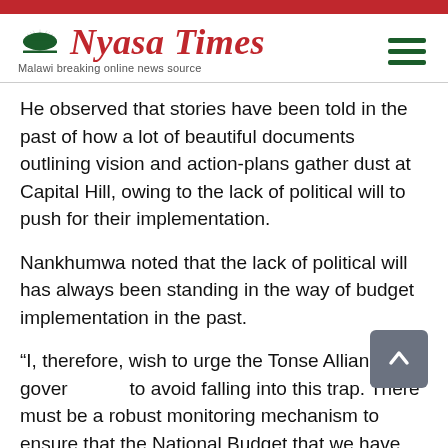Nyasa Times — Malawi breaking online news source
He observed that stories have been told in the past of how a lot of beautiful documents outlining vision and action-plans gather dust at Capital Hill, owing to the lack of political will to push for their implementation.
Nankhumwa noted that the lack of political will has always been standing in the way of budget implementation in the past.
“I, therefore, wish to urge the Tonse Alliance government to avoid falling into this trap. There must be a robust monitoring mechanism to ensure that the National Budget that we have just passed in this august House is fully and properly implemented,” he said.
The Leader of the Opposition assured the House and